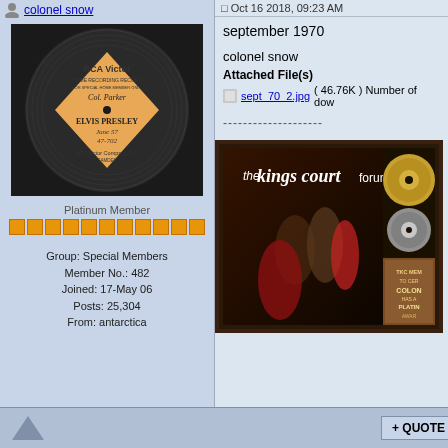colonel snow
[Figure (photo): RCA Victor Home Recording Record label with Col. Parker and Elvis Presley written on it]
Platinum Member
Group: Special Members
Member No.: 482
Joined: 17-May 06
Posts: 25,304
From: antarctica
Oct 16 2018, 09:23 AM
september 1970
colonel snow
Attached File(s)
sept_70_2.jpg ( 46.76K ) Number of dow
[Figure (photo): The Kings Court Forum banner/plaque showing Elvis Presley collage with gold record and TKC membership certificate reading COLONEL HAS A PLATINUM AWARD]